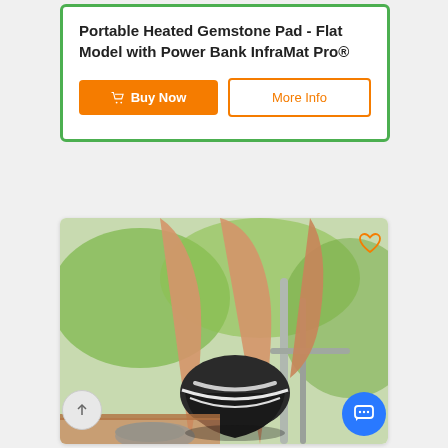Portable Heated Gemstone Pad - Flat Model with Power Bank InfraMat Pro®
Buy Now | More Info
[Figure (photo): Person putting on a black therapeutic boot/shoe device, seated outdoors with green background]